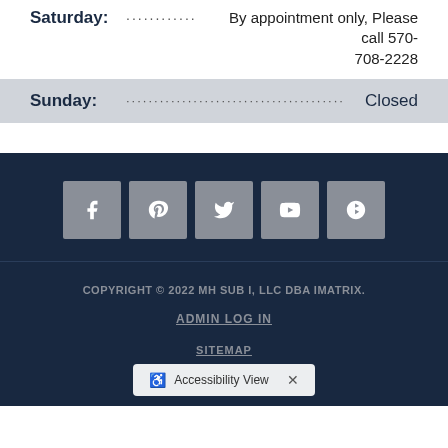Saturday: ............ By appointment only, Please call 570-708-2228
Sunday: ......................................... Closed
[Figure (infographic): Social media icons: Facebook, Pinterest, Twitter, YouTube, Yelp on dark navy background]
COPYRIGHT © 2022 MH SUB I, LLC DBA IMATRIX. ADMIN LOG IN SITEMAP
Accessibility View ×